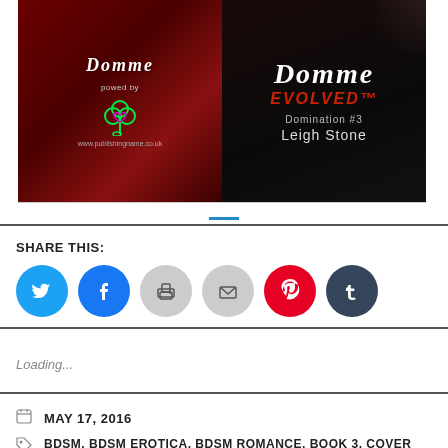[Figure (illustration): Book cover image split into two panels. Left panel: red silk/satin background with a neon shamrock logo and italic 'Domme' title text. Right panel: black background with 'Domme Evolved' title, 'Domination #3' subtitle, and 'Leigh Stone' author name.]
SHARE THIS:
[Figure (infographic): Row of six social media share buttons: Twitter (blue), Facebook (blue), Print (gray), Email (gray), Pinterest (red), Tumblr (dark navy)]
Loading...
MAY 17, 2016
BDSM, BDSM EROTICA, BDSM ROMANCE, BOOK 3, COVER